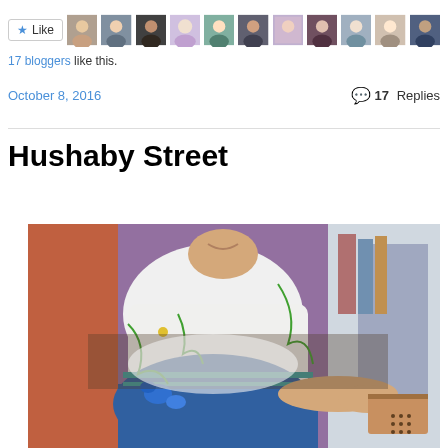[Figure (other): Like button with star icon followed by a row of avatar profile photos of bloggers]
17 bloggers like this.
October 8, 2016   💬 17 Replies
Hushaby Street
[Figure (illustration): Close-up mural painting of a woman in a white dress with blue floral embroidery, holding something, with colorful background elements]